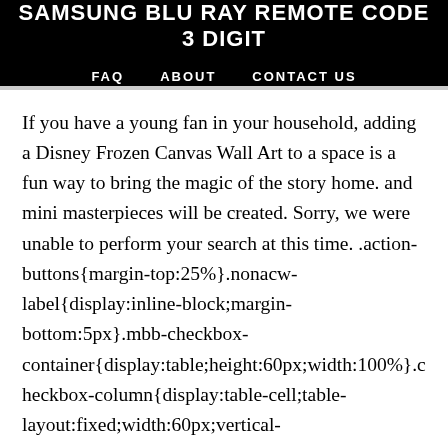SAMSUNG BLU RAY REMOTE CODE 3 DIGIT
FAQ   ABOUT   CONTACT US
If you have a young fan in your household, adding a Disney Frozen Canvas Wall Art to a space is a fun way to bring the magic of the story home. and mini masterpieces will be created. Sorry, we were unable to perform your search at this time. .action-buttons{margin-top:25%}.nonacw-label{display:inline-block;margin-bottom:5px}.mbb-checkbox-container{display:table;height:60px;width:100%}.checkbox-column{display:table-cell;table-layout:fixed;width:60px;vertical-